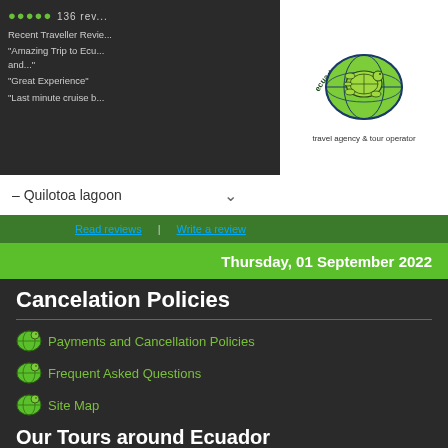[Figure (logo): Ecuador Green Travel logo - green turtle on globe with text 'ecuador green travel' and subtitle 'travel agency & tour operator']
Recent Traveller Reviews
"Amazing Trip to Ecu... and..."
"Great Experience"
"Last minute cruise b...
– Quilotoa lagoon
Read reviews | Write a review
Thursday, 01 September 2022
Cancelation Policies
Payments and Cancellation Policies
Frequent Asked Questions
Site Map
Our Tours around Ecuador
Galapagos Cruises
Amazon Jungle Tours
Day trips in Quito and surroundings